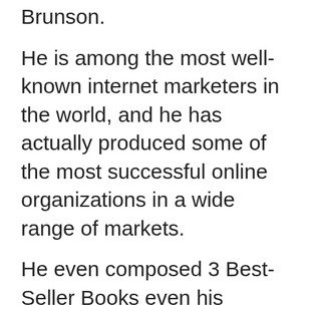Brunson.
He is among the most well-known internet marketers in the world, and he has actually produced some of the most successful online organizations in a wide range of markets.
He even composed 3 Best-Seller Books even his competitors would get them.
Which 3 Best-Seller Books?
1. DotCom Secrets
2. Expert Secrets
3. Traffic Secrets